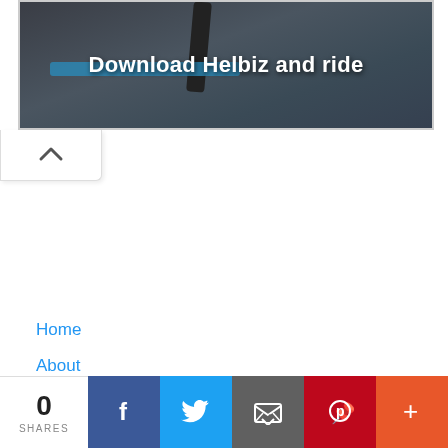[Figure (photo): Dark-toned banner image showing bicycle/scooter handlebars with text overlay 'Download Helbiz and ride']
Download Helbiz and ride
[Figure (other): White tab/collapse button with upward chevron arrow]
Home
About
Contact
[Figure (infographic): Social share bar showing 0 SHARES count, and buttons for Facebook, Twitter, Email, Pinterest, and More (+)]